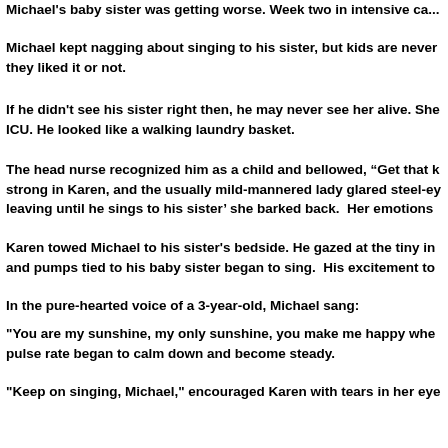Michael's baby sister was getting worse.  Week two in intensive ca...
Michael kept nagging about singing to his sister, but kids are never... they liked it or not.
If he didn't see his sister right then, he may never see her alive. She... ICU. He looked like a walking laundry basket.
The head nurse recognized him as a child and bellowed, “Get that k... strong in Karen, and the usually mild-mannered lady glared steel-ey... leaving until he sings to his sister’ she barked back.  Her emotions...
Karen towed Michael to his sister's bedside. He gazed at the tiny in... and pumps tied to his baby sister began to sing.  His excitement to...
In the pure-hearted voice of a 3-year-old, Michael sang:
"You are my sunshine, my only sunshine, you make me happy whe... pulse rate began to calm down and become steady.
"Keep on singing, Michael," encouraged Karen with tears in her eye...
"You never know, dear, how much I love you, please don't take my s... ragged, strained breathing became as smooth as a kitten's purr.
Even Michael noticed the change.  He paused as if he did something... of mistake.
“Keep on singing, sweetheart,” Michaels mother nudged, reassurin...